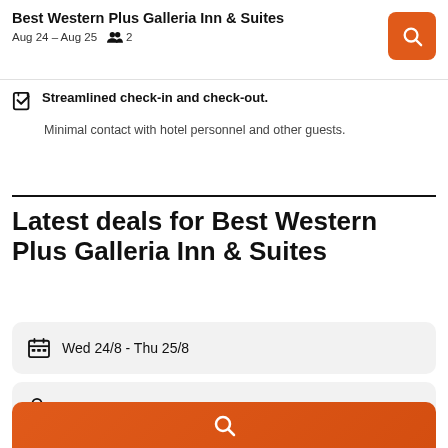Best Western Plus Galleria Inn & Suites | Aug 24 – Aug 25 | 2 guests
Streamlined check-in and check-out.
Minimal contact with hotel personnel and other guests.
Latest deals for Best Western Plus Galleria Inn & Suites
Wed 24/8  -  Thu 25/8
1 room, 2 guests